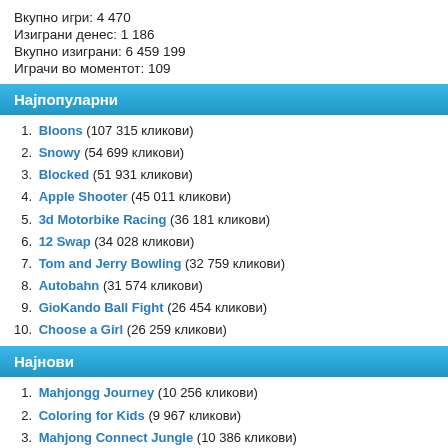Вкупно игри: 4 470
Изиграни денес: 1 186
Вкупно изиграни: 6 459 199
Играчи во моментот: 109
Најпопуларни
1. Bloons (107 315 кликови)
2. Snowy (54 699 кликови)
3. Blocked (51 931 кликови)
4. Apple Shooter (45 011 кликови)
5. 3d Motorbike Racing (36 181 кликови)
6. 12 Swap (34 028 кликови)
7. Tom and Jerry Bowling (32 759 кликови)
8. Autobahn (31 574 кликови)
9. GioKando Ball Fight (26 454 кликови)
10. Choose a Girl (26 259 кликови)
Најнови
1. Mahjongg Journey (10 256 кликови)
2. Coloring for Kids (9 967 кликови)
3. Mahjong Connect Jungle (10 386 кликови)
4. Daily Str8ts (9 818 кликови)
5. Mahjong Connect (10 109 кликови)